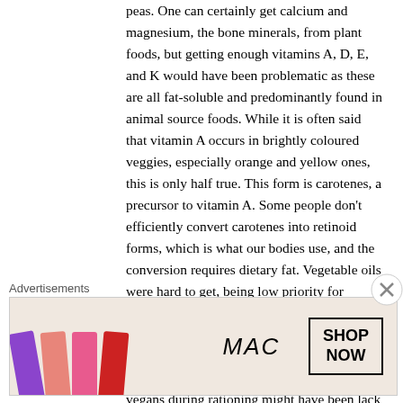peas. One can certainly get calcium and magnesium, the bone minerals, from plant foods, but getting enough vitamins A, D, E, and K would have been problematic as these are all fat-soluble and predominantly found in animal source foods. While it is often said that vitamin A occurs in brightly coloured veggies, especially orange and yellow ones, this is only half true. This form is carotenes, a precursor to vitamin A. Some people don't efficiently convert carotenes into retinoid forms, which is what our bodies use, and the conversion requires dietary fat. Vegetable oils were hard to get, being low priority for importation. The vitamin K in plant foods is likewise in a precursor form that doesn't get converted by people who don't produce the necessary enzyme. Another problem for vegans during rationing might have been lack of medium and long chain saturated fats because foods li
Advertisements
[Figure (photo): MAC cosmetics advertisement showing colourful lipsticks (purple, peach, pink, red) on the left, MAC brand name in the centre, and a SHOP NOW button on the right.]